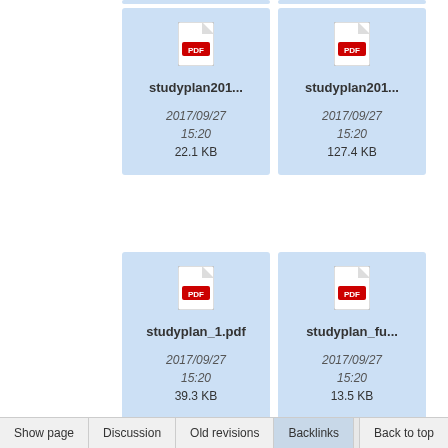[Figure (screenshot): File browser grid showing PDF file thumbnails. Top partial row (cut off). Two rows of file cards with PDF icons, filenames, dates and file sizes.]
studyplan201...
2017/09/27 15:20
22.1 KB
studyplan201...
2017/09/27 15:20
127.4 KB
studyplan_1.pdf
2017/09/27 15:20
39.3 KB
studyplan_fu...
2017/09/27 15:20
13.5 KB
Show page   Discussion   Old revisions   Backlinks   Back to top